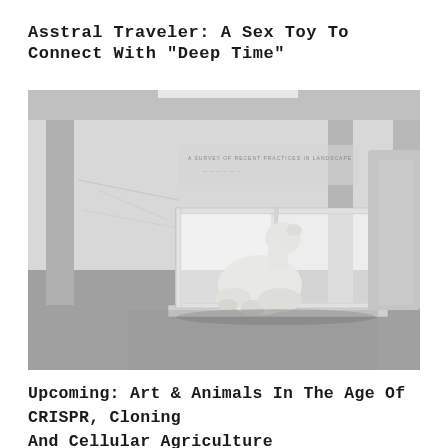Asstral Traveler: A sex toy to connect with "deep time"
[Figure (photo): A taxidermied polar bear sitting inside a glass display case in a large white gallery space with concrete pillars and text on the wall in the background]
Upcoming: Art & Animals in the Age of CRISPR, Cloning and Cellular Agriculture